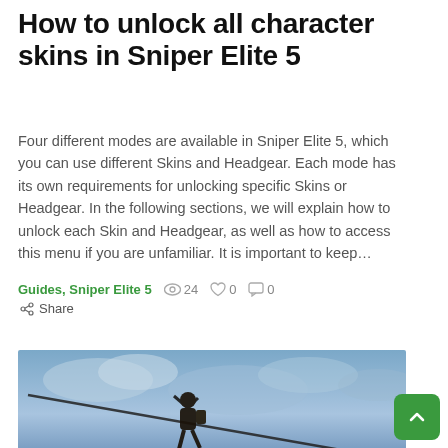How to unlock all character skins in Sniper Elite 5
Four different modes are available in Sniper Elite 5, which you can use different Skins and Headgear. Each mode has its own requirements for unlocking specific Skins or Headgear. In the following sections, we will explain how to unlock each Skin and Headgear, as well as how to access this menu if you are unfamiliar. It is important to keep…
Guides, Sniper Elite 5   👁 24  ♡ 0  💬 0  ← Share
[Figure (photo): A soldier character hanging from a zipline against a blue cloudy sky at dusk, with an orange overlay bar at the bottom showing 'GUIDES' and 'SNIPER ELITE 5' tags]